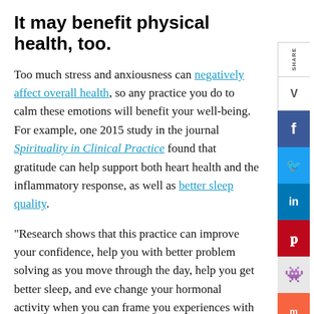It may benefit physical health, too.
Too much stress and anxiousness can negatively affect overall health, so any practice you do to calm these emotions will benefit your well-being. For example, one 2015 study in the journal Spirituality in Clinical Practice found that gratitude can help support both heart health and the inflammatory response, as well as better sleep quality.
“Research shows that this practice can improve your confidence, help you with better problem solving as you move through the day, help you get better sleep, and even change your hormonal activity when you can frame your experiences with more balance and less catastrophe,” adds Abrams.
Tips for getting started.